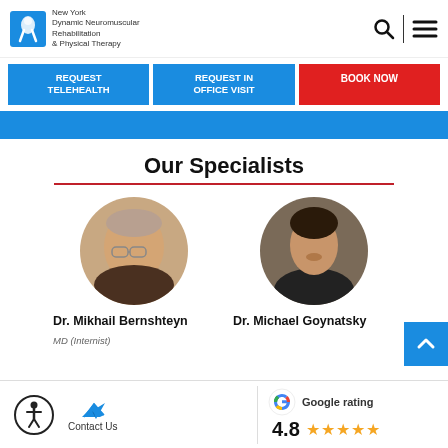New York Dynamic Neuromuscular Rehabilitation & Physical Therapy
REQUEST TELEHEALTH | REQUEST IN OFFICE VISIT | BOOK NOW
Our Specialists
[Figure (photo): Circular portrait photo of Dr. Mikhail Bernshteyn]
Dr. Mikhail Bernshteyn
MD (Internist)
[Figure (photo): Circular portrait photo of Dr. Michael Goynatsky]
Dr. Michael Goynatsky
Contact Us  Google rating 4.8